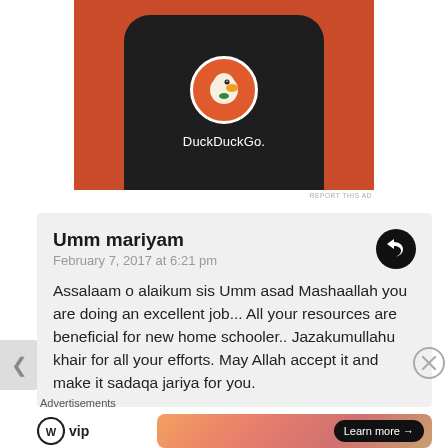[Figure (screenshot): DuckDuckGo app advertisement showing a phone with DuckDuckGo logo on an orange background]
REPORT THIS AD
Umm mariyam
February 7, 2017 at 6:21 pm

Assalaam o alaikum sis Umm asad Mashaallah you are doing an excellent job... All your resources are beneficial for new home schooler.. Jazakumullahu khair for all your efforts. May Allah accept it and make it sadaqa jariya for you.
Advertisements
[Figure (screenshot): WordPress VIP and Learn more advertisement banner at bottom]